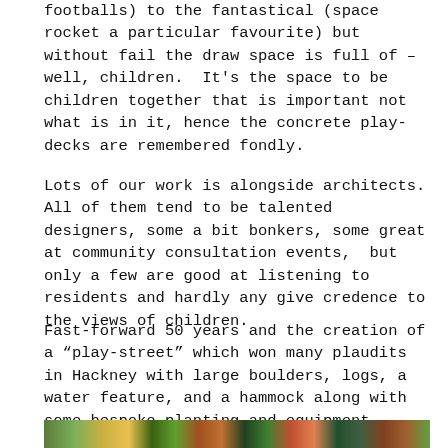footballs) to the fantastical (space rocket a particular favourite) but without fail the draw space is full of – well, children.  It's the space to be children together that is important not what is in it, hence the concrete play-decks are remembered fondly.
Lots of our work is alongside architects. All of them tend to be talented designers, some a bit bonkers, some great at community consultation events,  but only a few are good at listening to residents and hardly any give credence to the views of children.
Fast-forward 50 years and the creation of a "play-street" which won many plaudits in Hackney with large boulders, logs, a water feature, and a hammock along with some bespoke planting and equipment. (Health and Safety experts divert your eyes).
[Figure (photo): Partial bottom strip showing colourful outdoor/nature photographs]